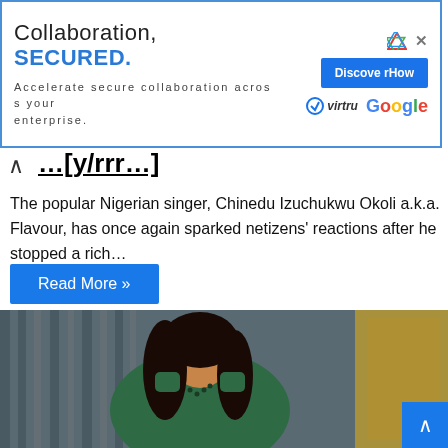[Figure (other): Advertisement banner: 'Collaboration, SECURED.' with Virtru and Google logos, and a 'Discover How' button. Blue border around the ad.]
…[partial headline visible, cut off]
The popular Nigerian singer, Chinedu Izuchukwu Okoli a.k.a. Flavour, has once again sparked netizens' reactions after he stopped a rich…
Read More »
[Figure (photo): Photo of a woman with long curly black hair wearing a dark green evening gown with bejeweled neckline, posing in front of a gold-framed picture against gray curtain backdrop.]